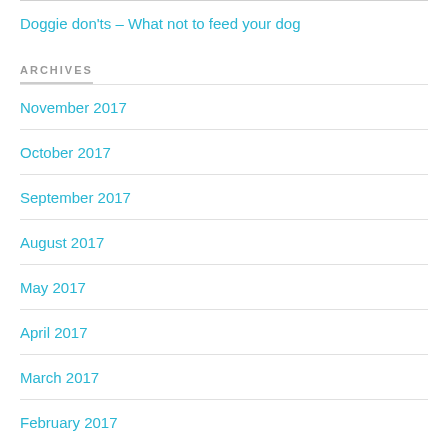Doggie don'ts – What not to feed your dog
ARCHIVES
November 2017
October 2017
September 2017
August 2017
May 2017
April 2017
March 2017
February 2017